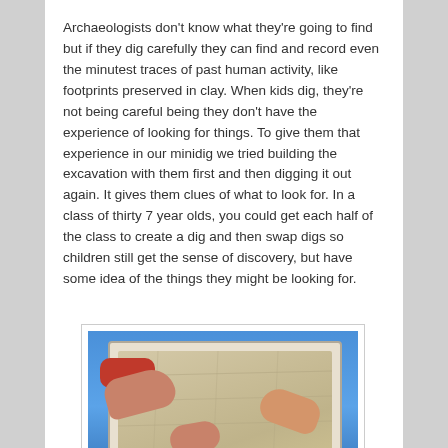Archaeologists don't know what they're going to find but if they dig carefully they can find and record even the minutest traces of past human activity, like footprints preserved in clay. When kids dig, they're not being careful being they don't have the experience of looking for things. To give them that experience in our minidig we tried building the excavation with them first and then digging it out again. It gives them clues of what to look for. In a class of thirty 7 year olds, you could get each half of the class to create a dig and then swap digs so children still get the sense of discovery, but have some idea of the things they might be looking for.
[Figure (photo): Children's hands working with clay/sand in a plastic tray on a blue tarp, with buckets of gravel/soil nearby — a minidig archaeology activity.]